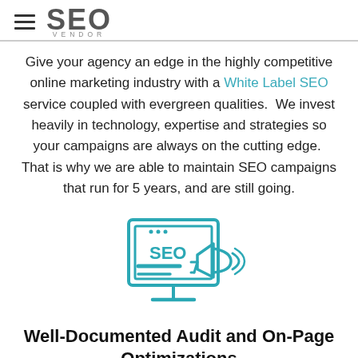SEO VENDOR
Give your agency an edge in the highly competitive online marketing industry with a White Label SEO service coupled with evergreen qualities.  We invest heavily in technology, expertise and strategies so your campaigns are always on the cutting edge.  That is why we are able to maintain SEO campaigns that run for 5 years, and are still going.
[Figure (illustration): Teal line-art icon of a computer monitor displaying 'SEO' text with a megaphone/bullhorn graphic overlapping the lower right of the screen, on a monitor stand.]
Well-Documented Audit and On-Page Optimizations